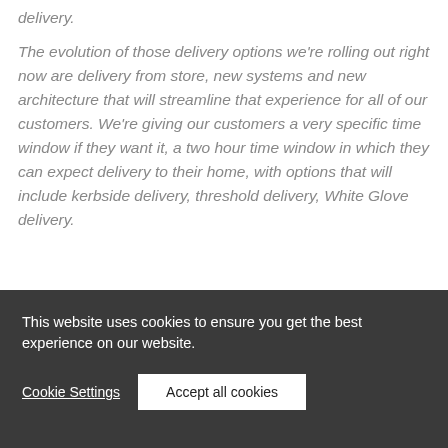delivery.
The evolution of those delivery options we're rolling out right now are delivery from store, new systems and new architecture that will streamline that experience for all of our customers. We're giving our customers a very specific time window if they want it, a two hour time window in which they can expect delivery to their home, with options that will include kerbside delivery, threshold delivery, White Glove delivery.
This website uses cookies to ensure you get the best experience on our website.
Cookie Settings
Accept all cookies